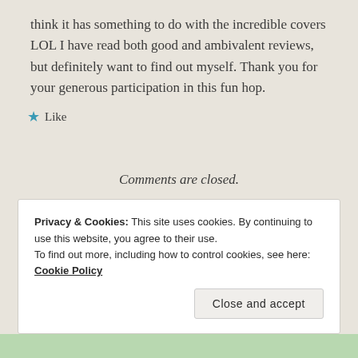think it has something to do with the incredible covers LOL I have read both good and ambivalent reviews, but definitely want to find out myself. Thank you for your generous participation in this fun hop.
★ Like
Comments are closed.
Privacy & Cookies: This site uses cookies. By continuing to use this website, you agree to their use.
To find out more, including how to control cookies, see here: Cookie Policy
Close and accept